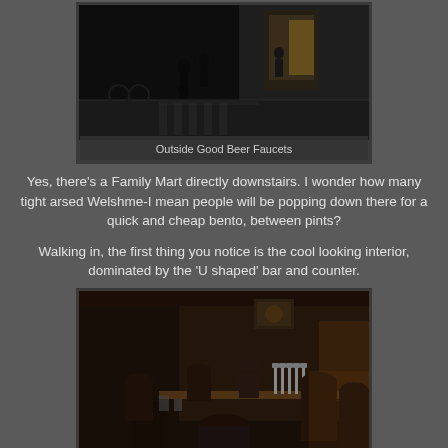[Figure (photo): Nighttime street scene outside Good Beer Faucets showing pedestrians walking on a sidewalk with illuminated signs and displays in the background]
Outside Good Beer Faucets
Yes, there's a Family Mart directly downstairs. I wonder how many tight arsed Welshme-I mean people will be popping down there for a quick and cheap bento, between pints?
Walking in, the first thing you notice is the cool looking interior, dominated by the 'U shaped' bar and counter.
[Figure (photo): Interior of Good Beer Faucets bar showing customers seated around a U-shaped bar counter with beer taps visible and warm lighting throughout the space]